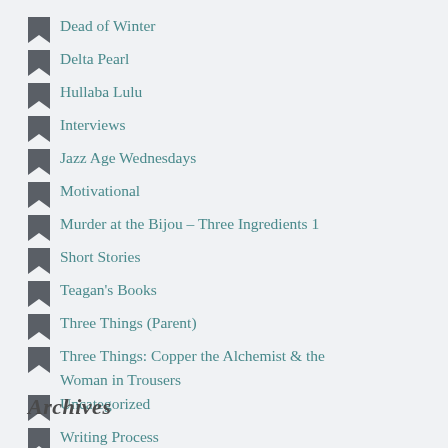Dead of Winter
Delta Pearl
Hullaba Lulu
Interviews
Jazz Age Wednesdays
Motivational
Murder at the Bijou – Three Ingredients 1
Short Stories
Teagan's Books
Three Things (Parent)
Three Things: Copper the Alchemist & the Woman in Trousers
Uncategorized
Writing Process
Archives